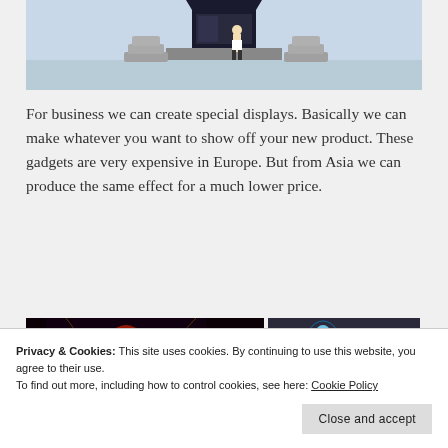[Figure (photo): A 3D rendered scene showing a person standing in front of a large dark display screen mounted on a platform surrounded by stacked white boxes or products.]
For business we can create special displays. Basically we can make whatever you want to show off your new product. These gadgets are very expensive in Europe. But from Asia we can produce the same effect for a much lower price.
[Figure (photo): Two images side by side: left shows a dark scene with a glowing red and orange figure (holographic display); right shows a glowing blue holographic human figure with a person standing nearby watching.]
Privacy & Cookies: This site uses cookies. By continuing to use this website, you agree to their use.
To find out more, including how to control cookies, see here: Cookie Policy
Close and accept